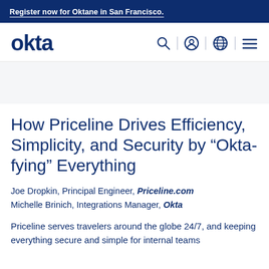Register now for Oktane in San Francisco.
[Figure (logo): Okta logo and navigation bar with search, user, globe, and menu icons]
How Priceline Drives Efficiency, Simplicity, and Security by "Okta-fying" Everything
Joe Dropkin, Principal Engineer, Priceline.com
Michelle Brinich, Integrations Manager, Okta
Priceline serves travelers around the globe 24/7, and keeping everything secure and simple for internal teams